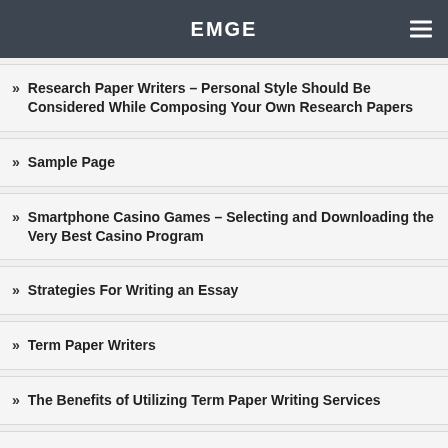EMGE
» Research Paper Writers – Personal Style Should Be Considered While Composing Your Own Research Papers
» Sample Page
» Smartphone Casino Games – Selecting and Downloading the Very Best Casino Program
» Strategies For Writing an Essay
» Term Paper Writers
» The Benefits of Utilizing Term Paper Writing Services
» The Best Bitcoin Casino